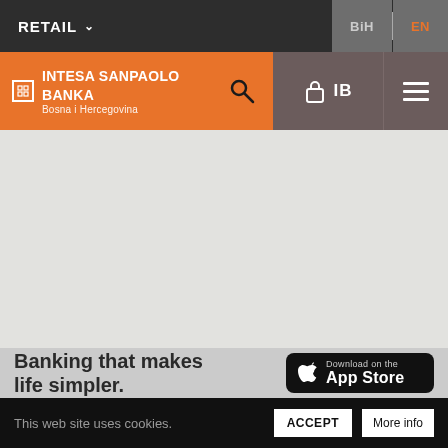RETAIL | BiH | EN
[Figure (logo): Intesa Sanpaolo Banka Bosna i Hercegovina logo on orange navigation bar with search, lock/IB, and hamburger menu icons]
[Figure (other): Large light grey content area (main body of the web page, content not visible)]
Banking that makes life simpler.
[Figure (other): Download on the App Store button with Apple logo]
This web site uses cookies.
ACCEPT
More info